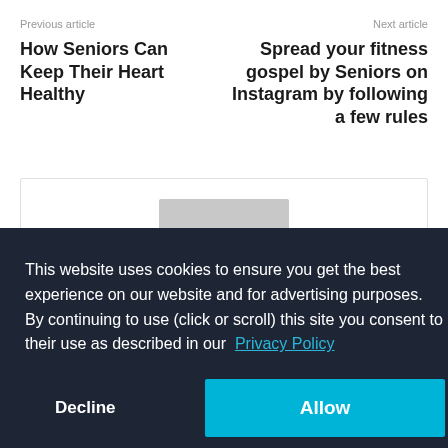Previous article
Next article
How Seniors Can Keep Their Heart Healthy
Spread your fitness gospel by Seniors on Instagram by following a few rules
[Figure (other): Gray placeholder box with a gray rectangle visible at the top]
This website uses cookies to ensure you get the best experience on our website and for advertising purposes. By continuing to use (click or scroll) this site you consent to their use as described in our Privacy Policy
Decline
Allow